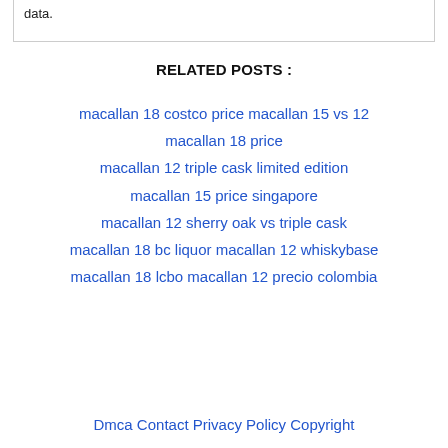data.
RELATED POSTS :
macallan 18 costco price macallan 15 vs 12 macallan 18 price
macallan 12 triple cask limited edition
macallan 15 price singapore
macallan 12 sherry oak vs triple cask
macallan 18 bc liquor macallan 12 whiskybase
macallan 18 lcbo macallan 12 precio colombia
Dmca Contact Privacy Policy Copyright